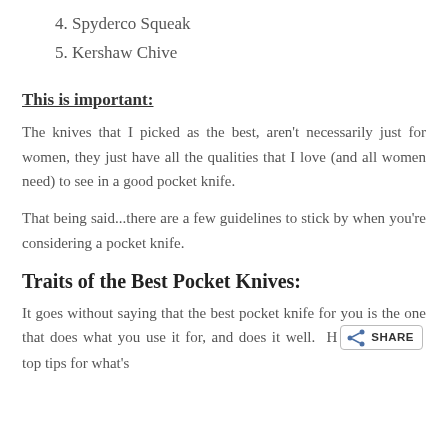4. Spyderco Squeak
5. Kershaw Chive
This is important:
The knives that I picked as the best, aren't necessarily just for women, they just have all the qualities that I love (and all women need) to see in a good pocket knife.
That being said...there are a few guidelines to stick by when you're considering a pocket knife.
Traits of the Best Pocket Knives:
It goes without saying that the best pocket knife for you is the one that does what you use it for, and does it well. H[SHARE button] top tips for what's